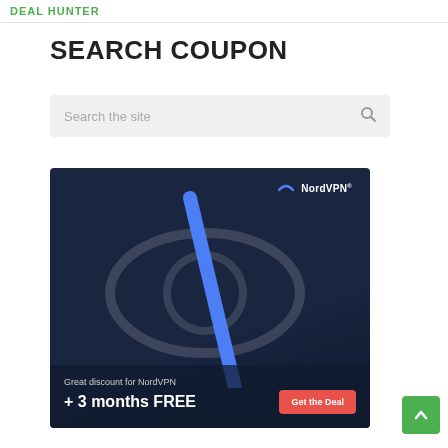DEAL HUNTER
SEARCH COUPON
Search the site
[Figure (screenshot): NordVPN advertisement banner with dark navy background, stylized eye with slash graphic in blue, NordVPN logo top right, text 'Great discount for NordVPN + 3 months FREE' and a red 'Get the Deal' button]